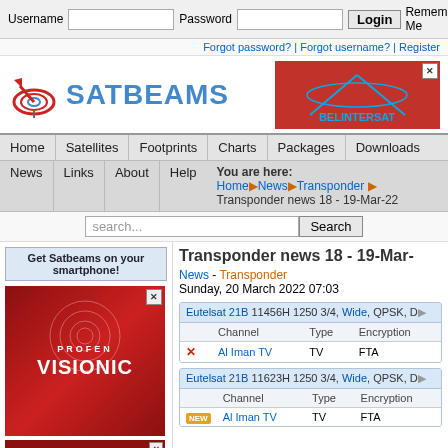Username [input] Password [input] Login Remember Me [checkbox] Forgot password? | Forgot username? | Register
[Figure (logo): Satbeams logo with satellite dish icon and blue SATBEAMS text]
[Figure (screenshot): Belintersat red advertisement banner]
Home | Satellites | Footprints | Charts | Packages | Downloads
News | Links | About | Help
You are here: Home > News > Transponder > Transponder news 18 - 19-Mar-22
search... [Search button]
Get Satbeams on your smartphone!
[Figure (photo): Profen Visionic red promotional advertisement]
Transponder news 18 - 19-Mar-
News - Transponder
Sunday, 20 March 2022 07:03
|  | Channel | Type | Encryption |
| --- | --- | --- | --- |
| Eutelsat 21B 11456H 1250 3/4, Wide, QPSK, DY |  |  |  |
|  | Channel | Type | Encryption |
| X | Al Iman TV | TV | FTA |
|  | Channel | Type | Encryption |
| --- | --- | --- | --- |
| Eutelsat 21B 11623H 1250 3/4, Wide, QPSK, DY |  |  |  |
|  | Channel | Type | Encryption |
| NEW | Al Iman TV | TV | FTA |